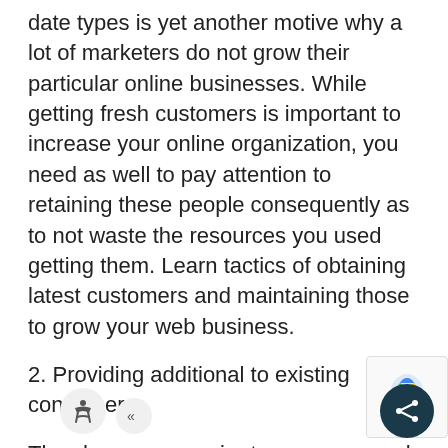date types is yet another motive why a lot of marketers do not grow their particular online businesses. While getting fresh customers is important to increase your online organization, you need as well to pay attention to retaining these people consequently as to not waste the resources you used getting them. Learn tactics of obtaining latest customers and maintaining those to grow your web business.
2. Providing additional to existing consumers.
They have very easier to grow your web business with existing customers than having latest types. This is due to they will already know you and understand your